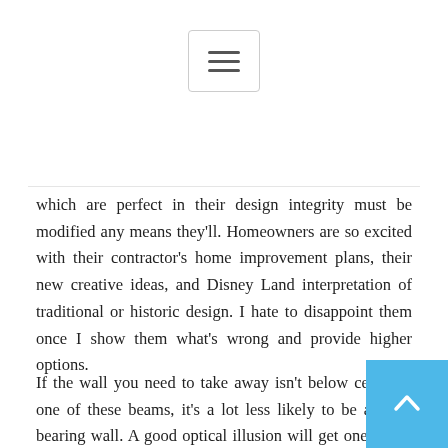[Figure (other): Hamburger menu button icon with three horizontal lines inside a rounded rectangle border]
which are perfect in their design integrity must be modified any means they'll. Homeowners are so excited with their contractor's home improvement plans, their new creative ideas, and Disney Land interpretation of traditional or historic design. I hate to disappoint them once I show them what's wrong and provide higher options.
If the wall you need to take away isn't below certainly one of these beams, it's a lot less likely to be a load-bearing wall. A good optical illusion will get one of the best of most of us, so why not use tips of the eye to your advantage? Hanging mirrors in your small home will mirror gentle, in addition to the room itself to make it really feel bigger. Refinishing takes a couple of day and $200 to DIY, and once you sand down the floors, you'll be able to refinish them with a brighter stain to lighten up the room. Stick with vertical material prints, like